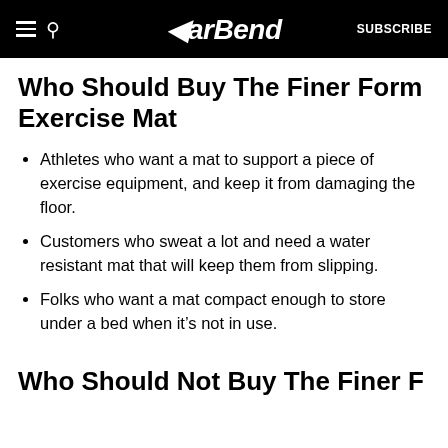BarBend — SUBSCRIBE
Who Should Buy The Finer Form Exercise Mat
Athletes who want a mat to support a piece of exercise equipment, and keep it from damaging the floor.
Customers who sweat a lot and need a water resistant mat that will keep them from slipping.
Folks who want a mat compact enough to store under a bed when it's not in use.
Who Should Not Buy The Finer F…